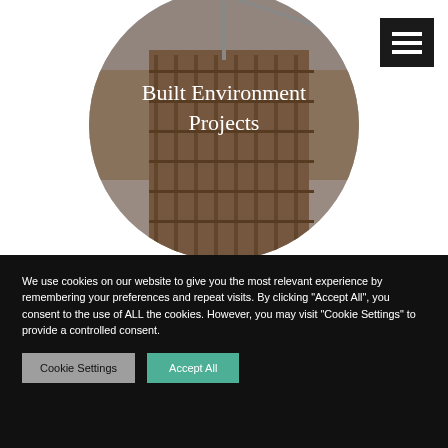[Figure (photo): Circular cropped photo of a construction site showing scaffolding and a crane against an overcast sky, with text overlay reading 'Built Environment Projects' in white serif font.]
Built Environment Projects
[Figure (other): Dark square hamburger menu icon in the top right corner with three white horizontal bars.]
We use cookies on our website to give you the most relevant experience by remembering your preferences and repeat visits. By clicking "Accept All", you consent to the use of ALL the cookies. However, you may visit "Cookie Settings" to provide a controlled consent.